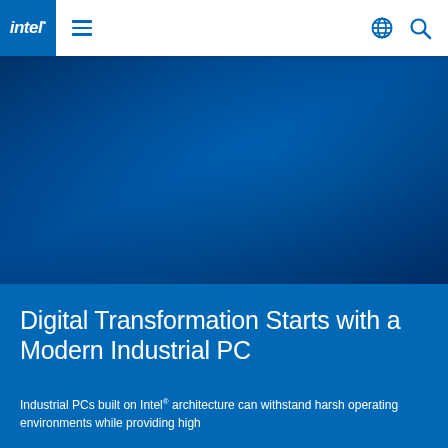intel. ≡  🌐 🔍
[Figure (photo): Dark blue hero image background, appears to show an industrial PC or computing environment with a deep blue color gradient]
Digital Transformation Starts with a Modern Industrial PC
Industrial PCs built on Intel® architecture can withstand harsh operating environments while providing high performance and compatibility.